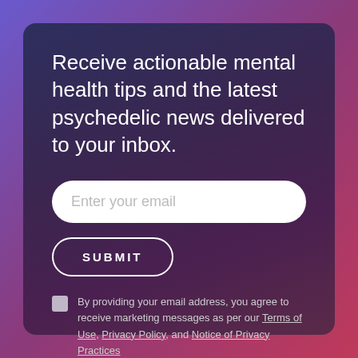Receive actionable mental health tips and the latest psychedelic news delivered to your inbox.
[Figure (other): Email input field with placeholder text 'Enter your email' and a white rounded rectangle background]
[Figure (other): Submit button with rounded border, transparent background, white text reading SUBMIT]
By providing your email address, you agree to receive marketing messages as per our Terms of Use, Privacy Policy, and Notice of Privacy Practices